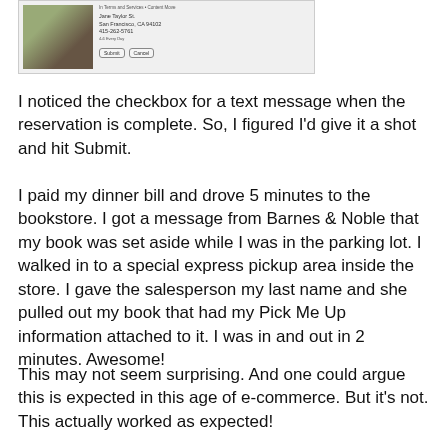[Figure (screenshot): Screenshot of a Barnes & Noble mobile reservation form showing a profile photo, user information fields, Submit and Cancel buttons, and small text about terms and services.]
I noticed the checkbox for a text message when the reservation is complete. So, I figured I'd give it a shot and hit Submit.
I paid my dinner bill and drove 5 minutes to the bookstore. I got a message from Barnes & Noble that my book was set aside while I was in the parking lot. I walked in to a special express pickup area inside the store. I gave the salesperson my last name and she pulled out my book that had my Pick Me Up information attached to it. I was in and out in 2 minutes. Awesome!
This may not seem surprising. And one could argue this is expected in this age of e-commerce. But it's not. This actually worked as expected!
This made me realize that there is hope for brick-and-mortars that master this online-to-offline integrated shopping experience. Or in this case, mobile-to-offline.